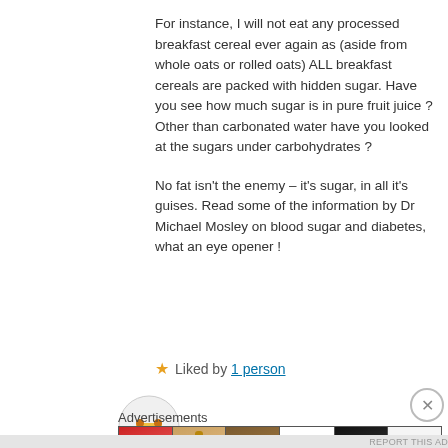For instance, I will not eat any processed breakfast cereal ever again as (aside from whole oats or rolled oats) ALL breakfast cereals are packed with hidden sugar. Have you see how much sugar is in pure fruit juice ? Other than carbonated water have you looked at the sugars under carbohydrates ?
No fat isn't the enemy – it's sugar, in all it's guises. Read some of the information by Dr Michael Mosley on blood sugar and diabetes, what an eye opener !
★ Liked by 1 person
[Figure (other): Partial circular avatar/logo icon with taxi-cab style graphic in orange and yellow tones]
Advertisements
[Figure (photo): Advertisement banner showing beauty/makeup images: lips with lipstick, makeup brush, eye with makeup, ULTA Beauty logo, dramatic eye makeup, and SHOP NOW button]